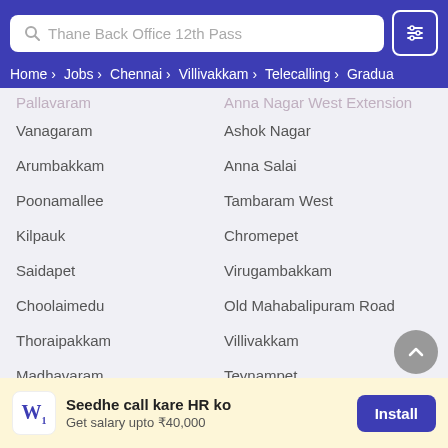Search: Thane Back Office 12th Pass | Navigation: Home › Jobs › Chennai › Villivakkam › Telecalling › Gradua
Vanagaram
Ashok Nagar
Arumbakkam
Anna Salai
Poonamallee
Tambaram West
Kilpauk
Chromepet
Saidapet
Virugambakkam
Choolaimedu
Old Mahabalipuram Road
Thoraipakkam
Villivakkam
Madhavaram
Teynampet
Thiruvanmiyur
Maduravoyal
Selaiyur
Royapettah
Seedhe call kare HR ko
Get salary upto ₹40,000